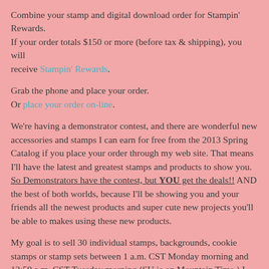Combine your stamp and digital download order for Stampin' Rewards.
If your order totals $150 or more (before tax & shipping), you will receive Stampin' Rewards.
Grab the phone and place your order.
Or place your order on-line.
We're having a demonstrator contest, and there are wonderful new accessories and stamps I can earn for free from the 2013 Spring Catalog if you place your order through my web site. That means I'll have the latest and greatest stamps and products to show you. So Demonstrators have the contest, but YOU get the deals!! AND the best of both worlds, because I'll be showing you and your friends all the newest products and super cute new projects you'll be able to makes using these new products.
My goal is to sell 30 individual stamps, backgrounds, cookie stamps or stamp sets between 1 a.m. CST Monday morning and 12:59 a.m. CST Tuesday morning (SU is on Mountain Time.) I need YOUR HELP to meet this goal! So prepare yourself to take advantage of these great deals (I'm staying up 'til midnight to make